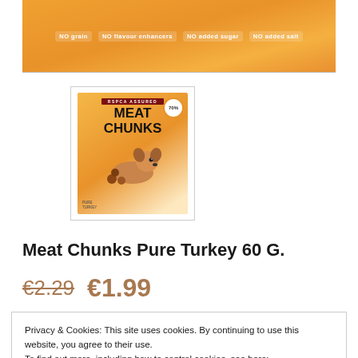[Figure (photo): Top portion of a dog treat product package (Meat Chunks) in orange/brown colors. Text reads: NO grain, NO flavour enhancers, NO added sugar, NO added salt.]
[Figure (photo): Thumbnail product image of Meat Chunks Pure Turkey dog treats package showing a dog and meat chunks, with brand logo at top.]
Meat Chunks Pure Turkey 60 G.
€2.29  €1.99
Privacy & Cookies: This site uses cookies. By continuing to use this website, you agree to their use.
To find out more, including how to control cookies, see here:
Политика использования файлов cookie
Принять и закрыть
sensitive stomachs